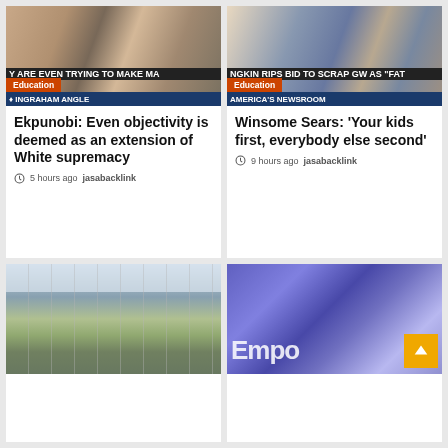[Figure (screenshot): TV screenshot from The Ingraham Angle showing news hosts. Text overlay: 'Y ARE EVEN TRYING TO MAKE MA'. Education badge and ticker bar visible.]
[Figure (screenshot): TV screenshot from America's Newsroom. Text overlay: 'NGKIN RIPS BID TO SCRAP GW AS FATH'. Education badge and ticker bar visible.]
Ekpunobi: Even objectivity is deemed as an extension of White supremacy
5 hours ago  jasabacklink
Winsome Sears: 'Your kids first, everybody else second'
9 hours ago  jasabacklink
[Figure (photo): Photo of a school classroom with green chalkboard and fluorescent ceiling lights.]
[Figure (screenshot): Screenshot showing a TV segment with 'Empow' text visible on a blue/purple background, with a scroll-to-top orange button overlay.]